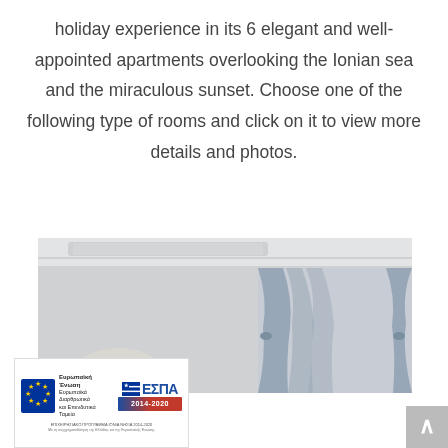holiday experience in its 6 elegant and well-appointed apartments overlooking the Ionian sea and the miraculous sunset. Choose one of the following type of rooms and click on it to view more details and photos.
[Figure (photo): Interior photo of an elegant apartment bedroom with white walls, ceiling molding, and grey curtains by a window with natural light. Overlaid with an ESPA (European Structural and Investment Funds) badge in the bottom left and a scroll-to-top button in the bottom right.]